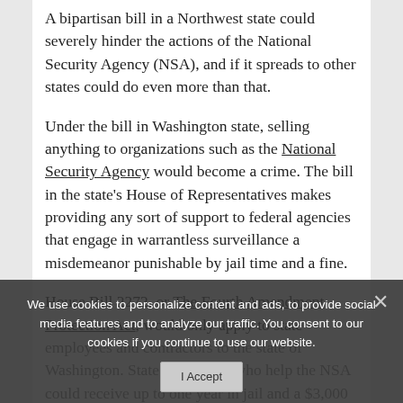A bipartisan bill in a Northwest state could severely hinder the actions of the National Security Agency (NSA), and if it spreads to other states could do even more than that.
Under the bill in Washington state, selling anything to organizations such as the National Security Agency would become a crime. The bill in the state's House of Representatives makes providing any sort of support to federal agencies that engage in warrantless surveillance a misdemeanor punishable by jail time and a fine.
House Bill 2272, or The Fourth Amendment Protection Act, would only apply to state employees and contractors to the state of Washington. State employees who help the NSA could receive up to one year in jail and a $3,000 fine. Contractors would receive up to 90 days in jail and a $1,000 fine. The bill would also ban contractors that worked
We use cookies to personalize content and ads, to provide social media features and to analyze our traffic. You consent to our cookies if you continue to use our website.